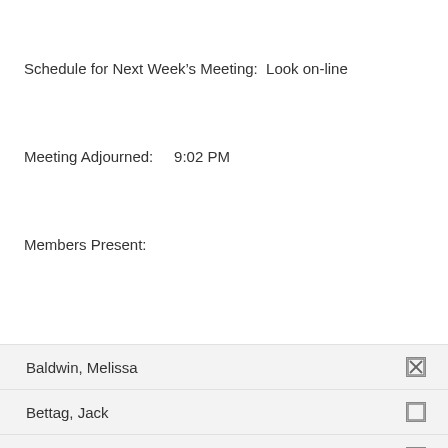Schedule for Next Week's Meeting:  Look on-line
Meeting Adjourned:    9:02 PM
Members Present:
Baldwin, Melissa [checked]
Bettag, Jack [unchecked]
Bold, Janet [checked]